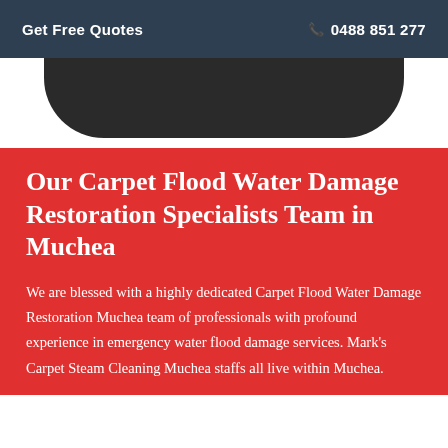Get Free Quotes   📞 0488 851 277
[Figure (photo): Dark rounded bottom of a device or graphic element on white background]
Our Carpet Flood Water Damage Restoration Specialists Team in Muchea
We are blessed with a highly dedicated Carpet Flood Water Damage Restoration Muchea team of professionals with profound experience in emergency water flood damage services. Mark's Carpet Steam Cleaning Muchea staffs all live within Muchea.